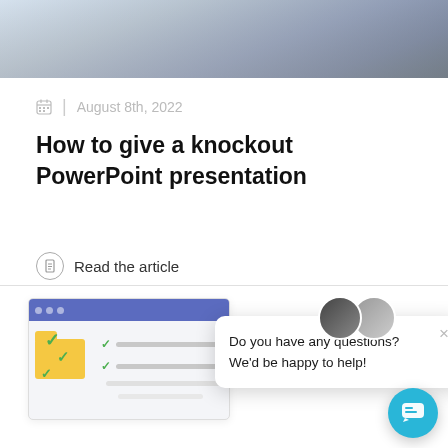[Figure (photo): Cropped top portion of a photo, partially visible, showing a laptop/tablet with a colorful background]
August 8th, 2022
How to give a knockout PowerPoint presentation
Read the article
[Figure (screenshot): Bottom section showing a UI mockup with a checklist illustration, overlaid by a chat popup with two avatar photos asking 'Do you have any questions? We'd be happy to help!' and a teal chat button in the bottom right corner.]